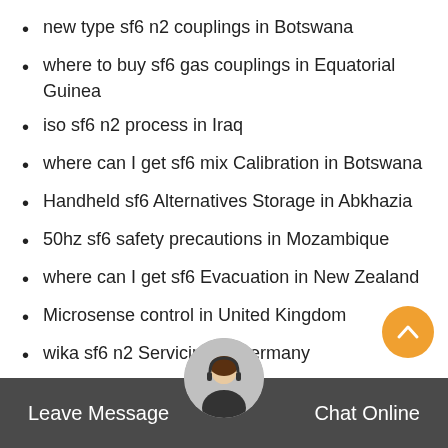new type sf6 n2 couplings in Botswana
where to buy sf6 gas couplings in Equatorial Guinea
iso sf6 n2 process in Iraq
where can I get sf6 mix Calibration in Botswana
Handheld sf6 Alternatives Storage in Abkhazia
50hz sf6 safety precautions in Mozambique
where can I get sf6 Evacuation in New Zealand
Microsense control in United Kingdom
wika sf6 n2 Servicing in Germany
Handheld sulfur hexafluoride couplings in Japan
cheap Insulated gas control in Germany
concordegas sf6 recycling in Eswatini
gasbanor sulfur hexafluoride recycler in Syria
iso Insulated gas re-use in Bahrain
Leave Message   Chat Online